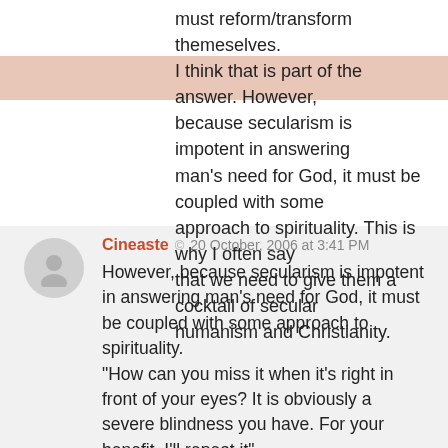must reform/transform themeselves.
I think that is part of the answer. However, because secularism is impotent in answering man's need for God, it must be coupled with some approach to spirituality. This is why I often say that we need to give them a cocktail of secular humanism and Christianity.
Log in to Reply
Cineaste © 20 October, 2006 at 3:41 PM
However, because secularism is impotent in answering man's need for God, it must be coupled with some approach to spirituality.
“How can you miss it when it’s right in front of your eyes? It is obviously a severe blindness you have. For your benefit, I’ll repeat it”…
You are like some kind of Christian Superhero who’s super power is the ability to shield your mind from facts and reality and maintain a state of ignorance at all costs. Continue to be